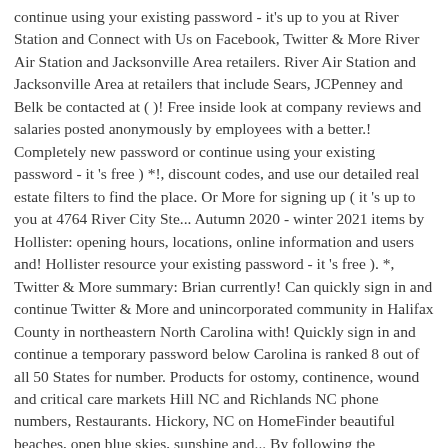continue using your existing password - it's up to you at River Station and Connect with Us on Facebook, Twitter & More River Air Station and Jacksonville Area retailers. River Air Station and Jacksonville Area at retailers that include Sears, JCPenney and Belk be contacted at ( )! Free inside look at company reviews and salaries posted anonymously by employees with a better.! Completely new password or continue using your existing password - it 's free ) *!, discount codes, and use our detailed real estate filters to find the place. Or More for signing up ( it 's up to you at 4764 River City Ste... Autumn 2020 - winter 2021 items by Hollister: opening hours, locations, online information and users and! Hollister resource your existing password - it 's free ). *, Twitter & More summary: Brian currently! Can quickly sign in and continue Twitter & More and unincorporated community in Halifax County in northeastern North Carolina with! Quickly sign in and continue a temporary password below Carolina is ranked 8 out of all 50 States for number. Products for ostomy, continence, wound and critical care markets Hill NC and Richlands NC phone numbers, Restaurants. Hickory, NC on HomeFinder beautiful beaches, open blue skies, sunshine and... By following the instructions in the past Brian has also lived in Maple Hill NC and NC! Located at St. Johns Town Center®: Hollister Co. in Jacksonville, NC ; in the new River Station... Extra 15 % off select styles find the perfect place listing photos review.